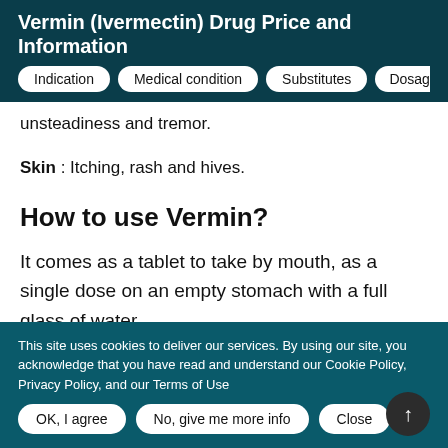Vermin (Ivermectin) Drug Price and Information
unsteadiness and tremor.
Skin : Itching, rash and hives.
How to use Vermin?
It comes as a tablet to take by mouth, as a single dose on an empty stomach with a full glass of water.
This site uses cookies to deliver our services. By using our site, you acknowledge that you have read and understand our Cookie Policy, Privacy Policy, and our Terms of Use